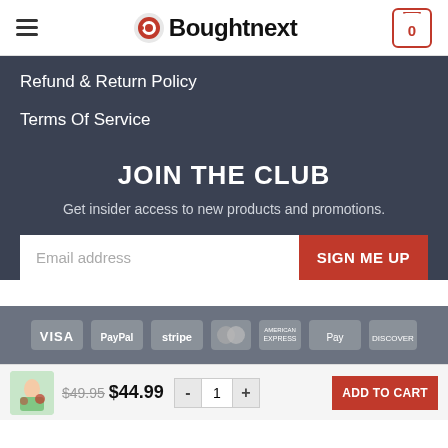Boughtnext
Refund & Return Policy
Terms Of Service
JOIN THE CLUB
Get insider access to new products and promotions.
Email address | SIGN ME UP
[Figure (other): Payment method logos: VISA, PayPal, stripe, Mastercard, American Express, Apple Pay, Discover]
$49.95 $44.99 - 1 + ADD TO CART